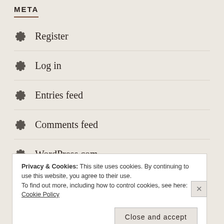META
Register
Log in
Entries feed
Comments feed
WordPress.com
Privacy & Cookies: This site uses cookies. By continuing to use this website, you agree to their use.
To find out more, including how to control cookies, see here: Cookie Policy